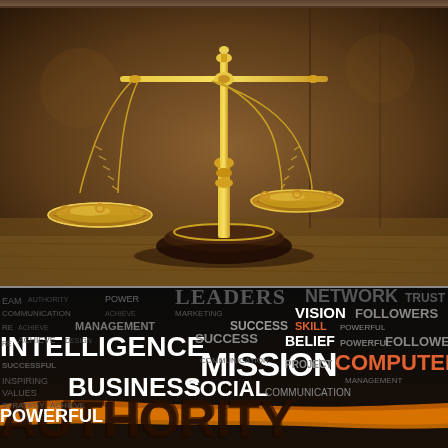[Figure (photo): A thin dark strip at the top of the page showing the edge of a wooden surface or background, dark brownish tones.]
[Figure (photo): Photograph of a golden brass balance scale (scales of justice) sitting on a dark wooden base on a wooden table surface. Warm brown and gold tones. The left pan hangs lower than the right.]
[Figure (infographic): Word cloud on a black background with business/leadership-related words in white, orange, and gray. Visible words include: TEAM, AUTHORITY, POWER, LEADERS, NETWORK, TRUST, COMMUNICATION, MARKETING, VISION, MANAGEMENT, SKILL, FOLLOWERS, INTELLIGENCE, SUCCESS, BELIEF, POWERFUL, COMPUTER, MISSION, PROJECT, MANAGEMENT, SUCCESSFUL, BUSINESS, SOCIAL, COMMUNICATION, INSPIRING, VALUES, STRATEGY, ACHIEVE, POWERFUL, AUTHORITY (large yellow/orange text at bottom reading 'AUTHORITY' with a yellow/orange paint stroke).]